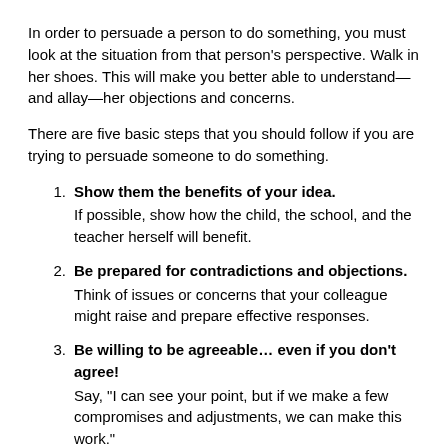In order to persuade a person to do something, you must look at the situation from that person's perspective. Walk in her shoes. This will make you better able to understand—and allay—her objections and concerns.
There are five basic steps that you should follow if you are trying to persuade someone to do something.
1. Show them the benefits of your idea. If possible, show how the child, the school, and the teacher herself will benefit.
2. Be prepared for contradictions and objections. Think of issues or concerns that your colleague might raise and prepare effective responses.
3. Be willing to be agreeable… even if you don't agree! Say, "I can see your point, but if we make a few compromises and adjustments, we can make this work."
4. Admit mistakes or miscalculations. Be willing to say, "Well, I hadn't thought about that…" This